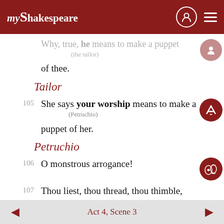myShakespeare
Why, true, he means to make a puppet (the tailor) of thee.
Tailor
105  She says your worship means to make a (Petruchio) puppet of her.
Petruchio
106  O monstrous arrogance!
107  Thou liest, thou thread, thou thimble,
108  Thou yard, three-quarters, half-yard,
Act 4, Scene 3